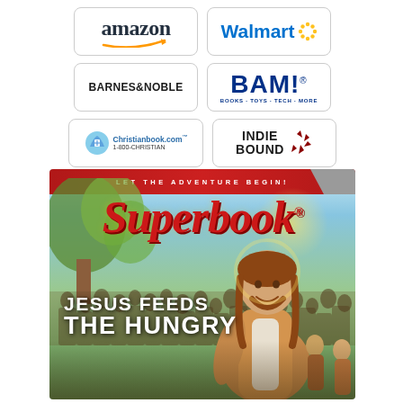[Figure (logo): Amazon logo with orange arrow]
[Figure (logo): Walmart logo with yellow spark]
[Figure (logo): Barnes & Noble logo]
[Figure (logo): BAM! Books Toys Tech More logo]
[Figure (logo): Christianbook.com 1-800-CHRISTIAN logo]
[Figure (logo): IndieBound logo]
[Figure (illustration): Superbook book cover - Jesus Feeds the Hungry, animated Jesus character with crowd in background, red banner at top reading LET THE ADVENTURE BEGIN!]